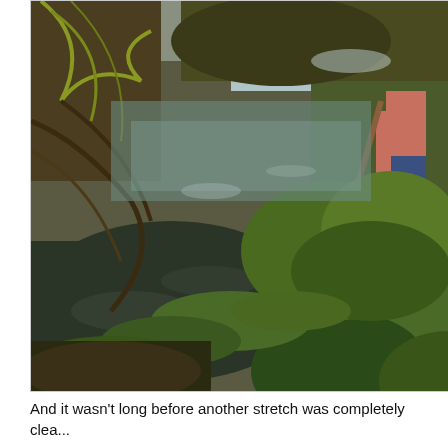[Figure (photo): A person standing on the bank of a watercourse or ditch, using a long-handled tool to clear aquatic vegetation. The waterway shows patches of dark water visible among dense green aquatic plants. The surrounding banks are covered with green vegetation, bare winter branches, and brambles. The scene appears to be a channel or stream clearing activity in a rural countryside setting.]
And it wasn't long before another stretch was completely clea...